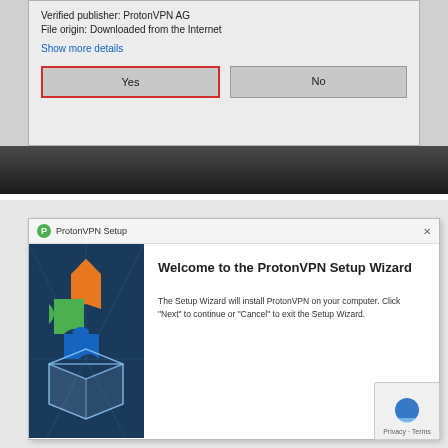[Figure (screenshot): Windows UAC dialog showing 'File origin: Downloaded from the Internet' with Yes button highlighted in red border and No button. Yes button is emphasized.]
[Figure (screenshot): ProtonVPN Setup Wizard installer window with puzzle pieces icon on left panel and welcome text on right reading 'Welcome to the ProtonVPN Setup Wizard'. Body text: 'The Setup Wizard will install ProtonVPN on your computer. Click Next to continue or Cancel to exit the Setup Wizard.']